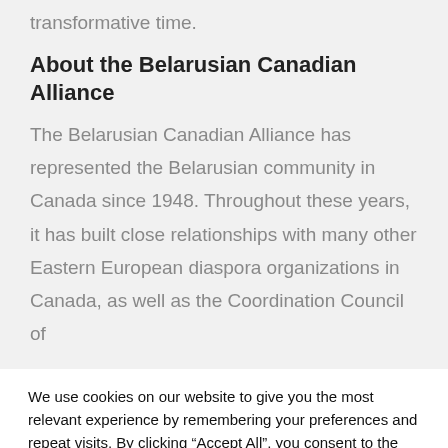transformative time.
About the Belarusian Canadian Alliance
The Belarusian Canadian Alliance has represented the Belarusian community in Canada since 1948. Throughout these years, it has built close relationships with many other Eastern European diaspora organizations in Canada, as well as the Coordination Council of
We use cookies on our website to give you the most relevant experience by remembering your preferences and repeat visits. By clicking “Accept All”, you consent to the use of ALL the cookies. However, you may visit "Cookie Settings" to provide a controlled consent.